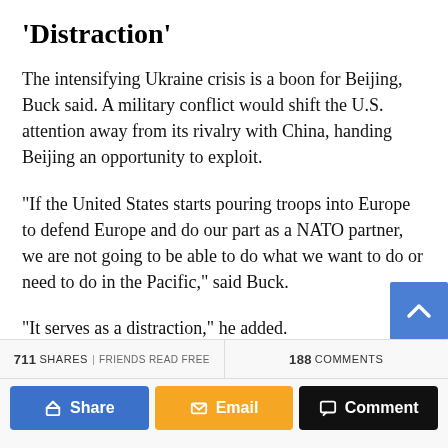‘Distraction’
The intensifying Ukraine crisis is a boon for Beijing, Buck said. A military conflict would shift the U.S. attention away from its rivalry with China, handing Beijing an opportunity to exploit.
“If the United States starts pouring troops into Europe to defend Europe and do our part as a NATO partner, we are not going to be able to do what we want to do or need to do in the Pacific,” said Buck.
“It serves as a distraction,” he added.
711 SHARES | FRIENDS READ FREE   188 COMMENTS   Share   Email   Comment